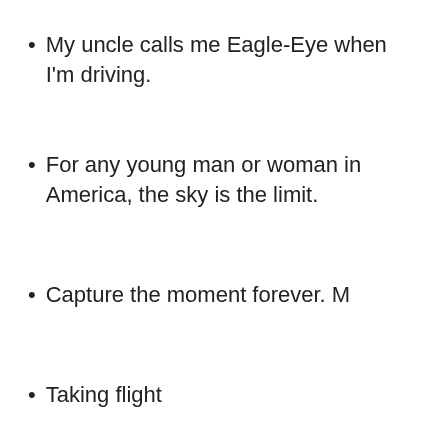My uncle calls me Eagle-Eye when I'm driving.
For any young man or woman in America, the sky is the limit.
Capture the moment forever.
Taking flight